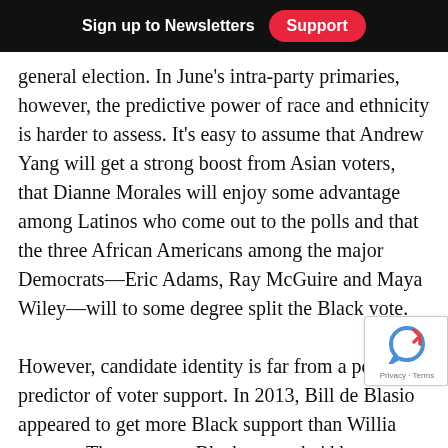Sign up to Newsletters   Support
general election. In June's intra-party primaries, however, the predictive power of race and ethnicity is harder to assess. It's easy to assume that Andrew Yang will get a strong boost from Asian voters, that Dianne Morales will enjoy some advantage among Latinos who come out to the polls and that the three African Americans among the major Democrats—Eric Adams, Ray McGuire and Maya Wiley—will to some degree split the Black vote.

However, candidate identity is far from a perfect predictor of voter support. In 2013, Bill de Blasio appeared to get more Black support than William Thompson, a Black man who'd been a citywide o for longer than de Blasio and was the Democratic